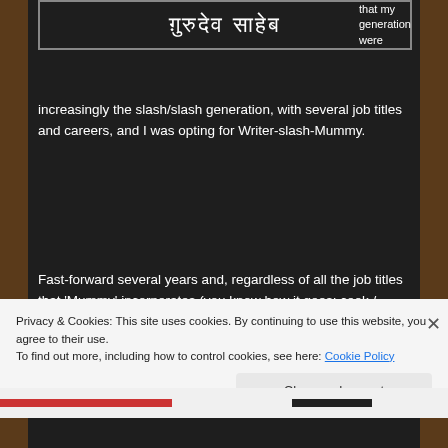[Figure (other): Box with non-Latin script text at top of dark background]
that my generation were increasingly the slash/slash generation, with several job titles and careers, and I was opting for Writer-slash-Mummy.
Fast-forward several years and, regardless of all the job titles that 'Mummy' incorporates (you know how it goes: cook / cleaner / confidant / taxi / ironing service / dog walker / general shit-scooper), there are now so many 'me's that I have lost myself in trying to find myself.
Privacy & Cookies: This site uses cookies. By continuing to use this website, you agree to their use.
To find out more, including how to control cookies, see here: Cookie Policy